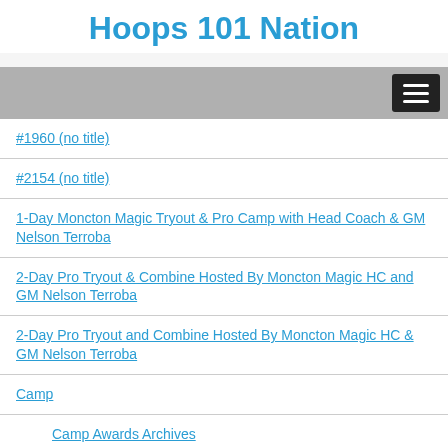Hoops 101 Nation
#1960 (no title)
#2154 (no title)
1-Day Moncton Magic Tryout & Pro Camp with Head Coach & GM Nelson Terroba
2-Day Pro Tryout & Combine Hosted By Moncton Magic HC and GM Nelson Terroba
2-Day Pro Tryout and Combine Hosted By Moncton Magic HC & GM Nelson Terroba
Camp
Camp Awards Archives
Camp FAQs